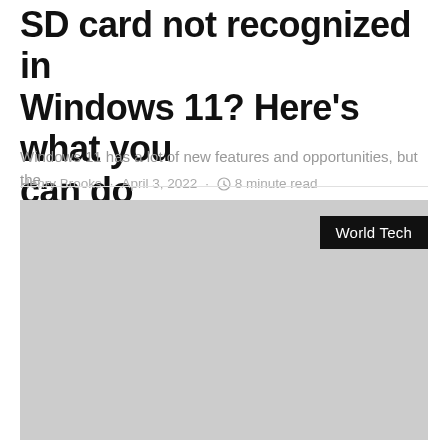SD card not recognized in Windows 11? Here's what you can do
Windows 11 has a lot of new features and opportunities, but the…
Henry Brooks · April 3, 2022 · 8 minute read
[Figure (other): Gray placeholder image with a 'World Tech' black badge in the top-right corner]